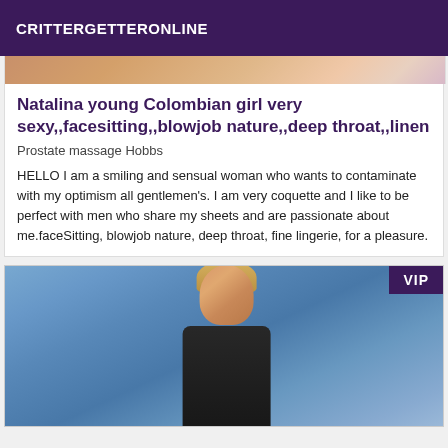CRITTERGETTERONLINE
[Figure (photo): Partial image of a person at the top of the page, cropped]
Natalina young Colombian girl very sexy,,facesitting,,blowjob nature,,deep throat,,linen
Prostate massage Hobbs
HELLO I am a smiling and sensual woman who wants to contaminate with my optimism all gentlemen's. I am very coquette and I like to be perfect with men who share my sheets and are passionate about me.faceSitting, blowjob nature, deep throat, fine lingerie, for a pleasure.
[Figure (photo): Photo of a blonde woman with a VIP badge in the top right corner, blue background]